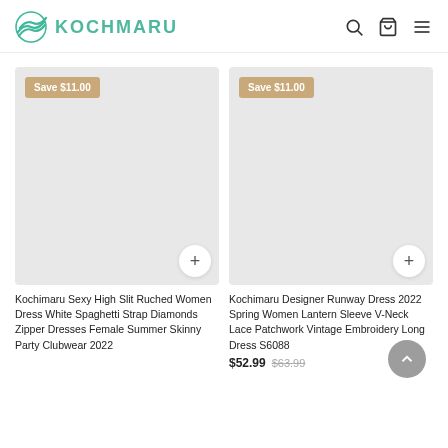[Figure (logo): Kochimaru brand logo with green leaf/wave icon and teal text]
[Figure (screenshot): E-commerce product listing page showing two dress products with 'Save $11.00' badges on grey placeholder images, plus buttons, product titles and prices]
Kochimaru Sexy High Slit Ruched Women Dress White Spaghetti Strap Diamonds Zipper Dresses Female Summer Skinny Party Clubwear 2022
Kochimaru Designer Runway Dress 2022 Spring Women Lantern Sleeve V-Neck Lace Patchwork Vintage Embroidery Long Dress S6088
$52.99  $63.99